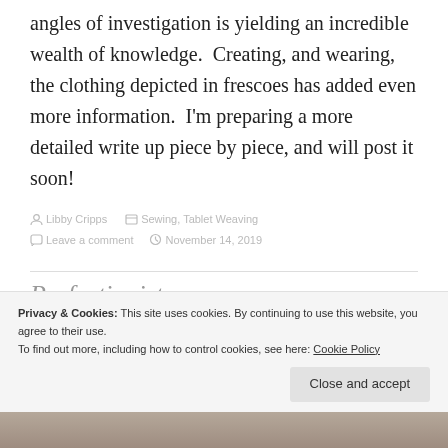angles of investigation is yielding an incredible wealth of knowledge.  Creating, and wearing, the clothing depicted in frescoes has added even more information.  I'm preparing a more detailed write up piece by piece, and will post it soon!
Libby Cripps   Sewing, Tablet Weaving   Leave a comment   November 14, 2019
Privacy & Cookies: This site uses cookies. By continuing to use this website, you agree to their use.
To find out more, including how to control cookies, see here: Cookie Policy
Close and accept